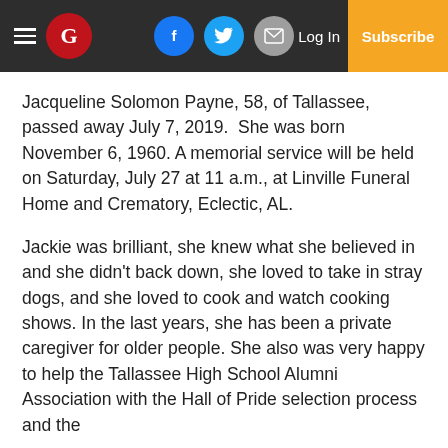Navigation bar with hamburger menu, G logo, social icons (Facebook, Twitter, Email), Log In, Subscribe
Jacqueline Solomon Payne, 58, of Tallassee, passed away July 7, 2019. She was born November 6, 1960. A memorial service will be held on Saturday, July 27 at 11 a.m., at Linville Funeral Home and Crematory, Eclectic, AL.
Jackie was brilliant, she knew what she believed in and she didn't back down, she loved to take in stray dogs, and she loved to cook and watch cooking shows. In the last years, she has been a private caregiver for older people. She also was very happy to help the Tallassee High School Alumni Association with the Hall of Pride selection process and the